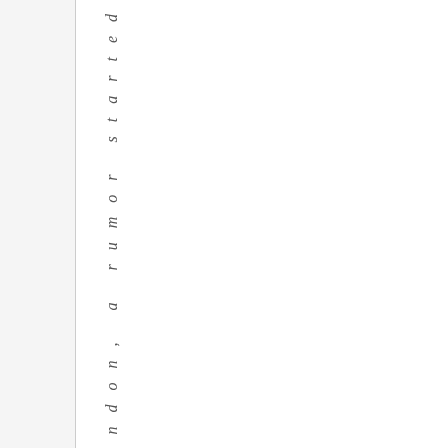was in London, a rumor started